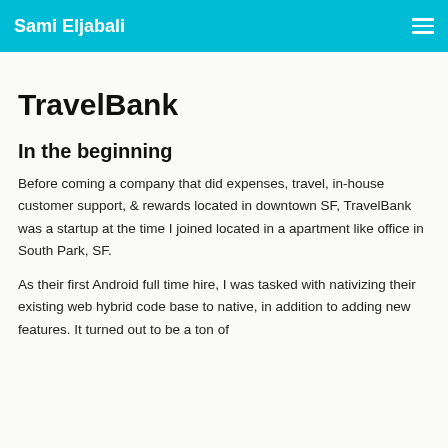Sami Eljabali
TravelBank
In the beginning
Before coming a company that did expenses, travel, in-house customer support, & rewards located in downtown SF, TravelBank was a startup at the time I joined located in a apartment like office in South Park, SF.
As their first Android full time hire, I was tasked with nativizing their existing web hybrid code base to native, in addition to adding new features. It turned out to be a ton of